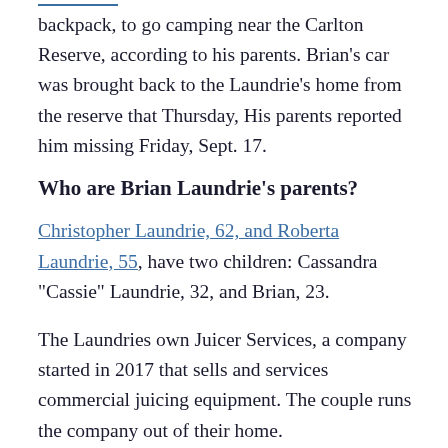backpack, to go camping near the Carlton Reserve, according to his parents. Brian's car was brought back to the Laundrie's home from the reserve that Thursday, His parents reported him missing Friday, Sept. 17.
Who are Brian Laundrie's parents?
Christopher Laundrie, 62, and Roberta Laundrie, 55, have two children: Cassandra "Cassie" Laundrie, 32, and Brian, 23.
The Laundries own Juicer Services, a company started in 2017 that sells and services commercial juicing equipment. The couple runs the company out of their home.
Brian Laundrie and Petito moved in with his parents in